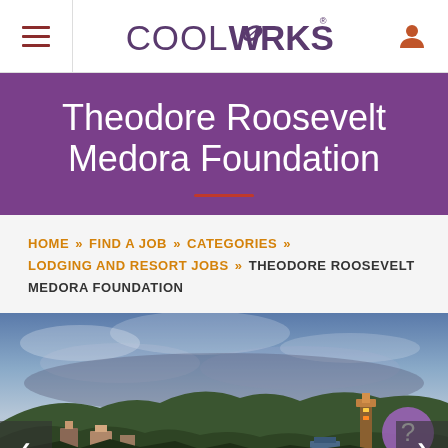CoolWorks
Theodore Roosevelt Medora Foundation
HOME » FIND A JOB » CATEGORIES » LODGING AND RESORT JOBS » THEODORE ROOSEVELT MEDORA FOUNDATION
[Figure (photo): Outdoor landscape photo showing the town of Medora, North Dakota with buildings, trees on hillsides, and a dramatic cloudy sky at dusk]